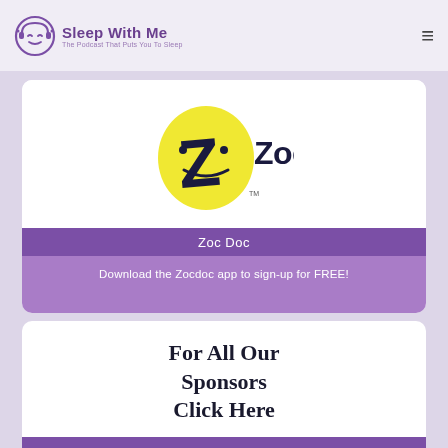Sleep With Me — The Podcast That Puts You To Sleep
[Figure (logo): Zocdoc logo: yellow rounded smiley face with a stylized Z, alongside the text 'Zocdoc' in dark navy blue]
Zoc Doc
Download the Zocdoc app to sign-up for FREE!
For All Our Sponsors Click Here
Click here